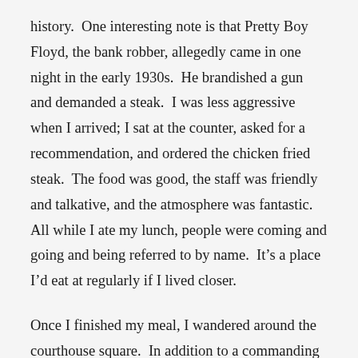history.  One interesting note is that Pretty Boy Floyd, the bank robber, allegedly came in one night in the early 1930s.  He brandished a gun and demanded a steak.  I was less aggressive when I arrived; I sat at the counter, asked for a recommendation, and ordered the chicken fried steak.  The food was good, the staff was friendly and talkative, and the atmosphere was fantastic.  All while I ate my lunch, people were coming and going and being referred to by name.  It’s a place I’d eat at regularly if I lived closer.
Once I finished my meal, I wandered around the courthouse square.  In addition to a commanding courthouse, the downtown district boasts the oldest continuously running gas station in the state as well as as bank building from 1902 that got my attention.  It